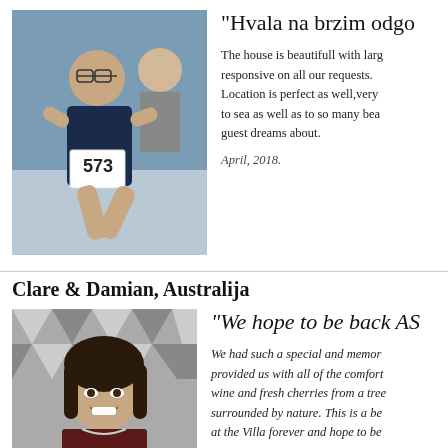[Figure (photo): Man wearing glasses and a race bib number 573, running in a 10k race, wearing a dark t-shirt with a logo]
"Hvala na brzim odgo
The house is beautifull with larg responsive on all our requests. Location is perfect as well,very to sea as well as to so many bea guest dreams about.
April, 2018.
Clare & Damian, Australija
[Figure (photo): Black and white photo of a smiling woman with dark hair and a necklace, in front of a geometric patterned background]
"We hope to be back AS
We had such a special and memor provided us with all of the comfort wine and fresh cherries from a tree surrounded by nature. This is a be at the Villa forever and hope to be